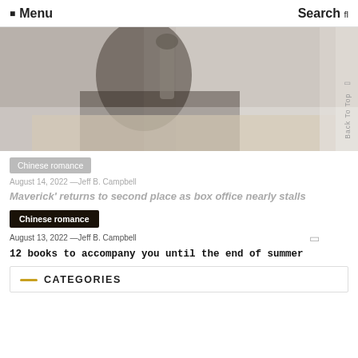☰ Menu   Search
[Figure (photo): A dark overhead photo showing a person working at a desk with a microphone and various objects, faded/muted tones]
Chinese romance
August 14, 2022 —Jeff B. Campbell
Maverick' returns to second place as box office nearly stalls
Chinese romance
August 13, 2022 —Jeff B. Campbell
12 books to accompany you until the end of summer
CATEGORIES